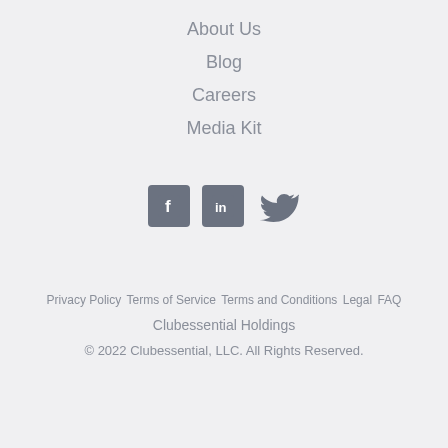About Us
Blog
Careers
Media Kit
[Figure (illustration): Social media icons: Facebook, LinkedIn, Twitter]
Privacy Policy  Terms of Service  Terms and Conditions  Legal  FAQ  Clubessential Holdings  © 2022 Clubessential, LLC. All Rights Reserved.